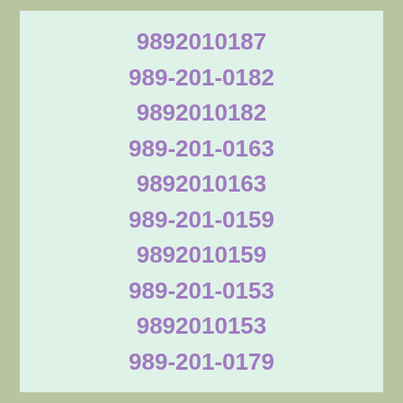9892010187
989-201-0182
9892010182
989-201-0163
9892010163
989-201-0159
9892010159
989-201-0153
9892010153
989-201-0179